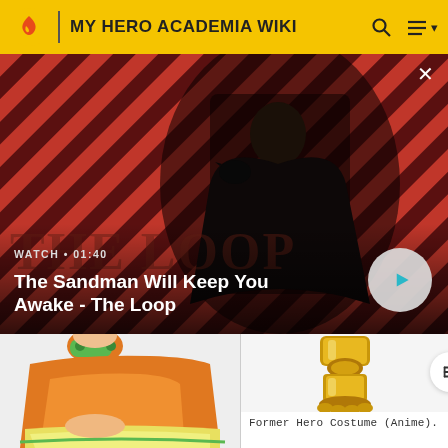MY HERO ACADEMIA WIKI
[Figure (screenshot): Video banner showing a dark-cloaked figure with a raven on shoulder against a red and dark diagonal striped background. Text overlay: WATCH · 01:40, The Sandman Will Keep You Awake - The Loop. Play button on right. Close button top right.]
[Figure (illustration): Anime illustration showing orange and yellow costume lower body portion of a female character, with green paw-print bracelet.]
[Figure (illustration): Illustration showing golden armored leg/boot, Former Hero Costume (Anime).]
Former Hero Costume (Anime).